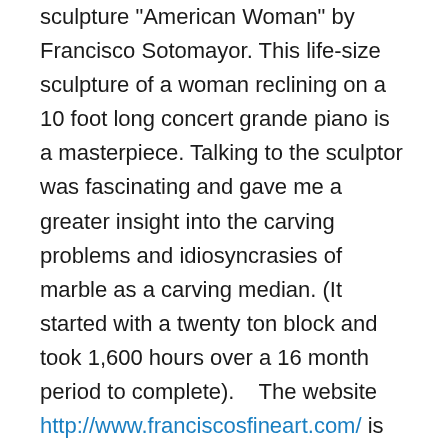I was particularly impressed with the life-size marble sculpture "American Woman" by Francisco Sotomayor. This life-size sculpture of a woman reclining on a 10 foot long concert grande piano is a masterpiece. Talking to the sculptor was fascinating and gave me a greater insight into the carving problems and idiosyncrasies of marble as a carving median. (It started with a twenty ton block and took 1,600 hours over a 16 month period to complete).    The website http://www.franciscosfineart.com/ is well worth a look that shows the sculpture evolve from the block of marble to completion. There is also an interesting segment on the Yule marble mine.
Giant amethyst geodes as big as a car, complete fossil dinosaurs, emeralds the size of match boxes and Tanzanites as big as eggs can all be seen at Tucson.